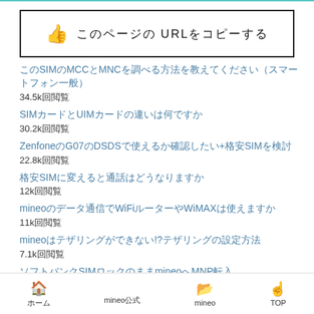[Figure (other): Button box with thumbs-up icon and Japanese text 'このページのURLをコピーする']
このSIMのMCCとMNCを調べる方法を教えてください（スマートフォン一般） 34.5k回閲覧
SIMカードとUIMカードの違いは何ですか 30.2k回閲覧
Zenfone g07のDSDSで使えるか確認したい+格安SIM検討 22.8k回閲覧
格安SIMに変えると通話はどうなりますか 12k回閲覧
mineoのデータ通信でWiFiルーターやWiMAXは使えますか 11k回閲覧
mineoはテザリングができない!?テザリングの設定方法を 7.1k回閲覧
ソフトバンクSIMロックのままmineoへMNP転入 6.8k回閲覧
mineoのSIMカードはどのサイズのものを選べばいいのでしょうか 5.3k回閲覧
iphone2台をSIMフリーにしてmineoを契約する 5.3k回閲覧
DSDSスマホで格安SIMを使いながら通常SIMも使いたい 5.2k回閲覧
ホーム　mineo公式　mineo　TOP